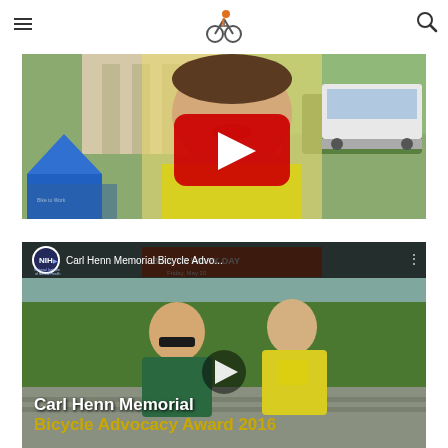Navigation header with hamburger menu, bicycle logo, and search icon
[Figure (screenshot): YouTube video thumbnail showing a man in a yellow cycling shirt with a YouTube play button overlay, outdoors at what appears to be a cycling event with a blue tent and bus in background]
[Figure (screenshot): YouTube video thumbnail for 'Carl Henn Memorial Bicycle Advocacy Award 2016' with NIH logo in title bar, showing two people at a Bike to Work Day event, with gold text overlay reading 'Carl Henn Memorial Bicycle Advocacy Award 2016']